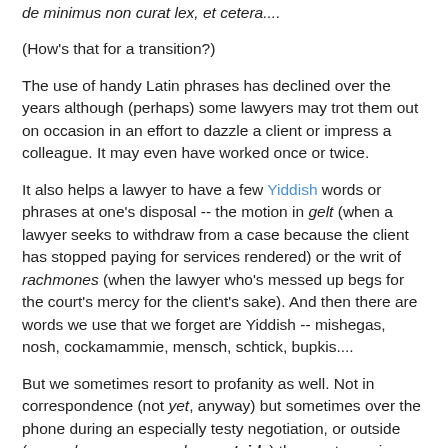de minimus non curat lex, et cetera....
(How's that for a transition?)
The use of handy Latin phrases has declined over the years although (perhaps) some lawyers may trot them out on occasion in an effort to dazzle a client or impress a colleague. It may even have worked once or twice.
It also helps a lawyer to have a few Yiddish words or phrases at one's disposal -- the motion in gelt (when a lawyer seeks to withdraw from a case because the client has stopped paying for services rendered) or the writ of rachmones (when the lawyer who's messed up begs for the court's mercy for the client's sake). And then there are words we use that we forget are Yiddish -- mishegas, nosh, cockamammie, mensch, schtick, bupkis....
But we sometimes resort to profanity as well. Not in correspondence (not yet, anyway) but sometimes over the phone during an especially testy negotiation, or outside (young lawyers, remember: outside) the courtroom in order